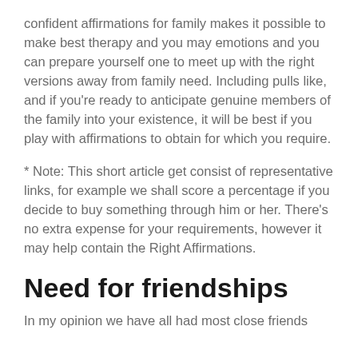confident affirmations for family makes it possible to make best therapy and you may emotions and you can prepare yourself one to meet up with the right versions away from family need. Including pulls like, and if you're ready to anticipate genuine members of the family into your existence, it will be best if you play with affirmations to obtain for which you require.
* Note: This short article get consist of representative links, for example we shall score a percentage if you decide to buy something through him or her. There's no extra expense for your requirements, however it may help contain the Right Affirmations.
Need for friendships
In my opinion we have all had most close friends